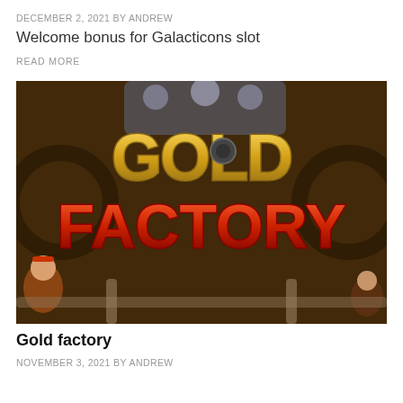DECEMBER 2, 2021 BY ANDREW
Welcome bonus for Galacticons slot
READ MORE
[Figure (screenshot): Gold Factory slot game logo showing 'GOLD' in large golden 3D letters and 'FACTORY' in large red 3D letters with industrial/steampunk background, gears, pipes, and cartoon characters.]
Gold factory
NOVEMBER 3, 2021 BY ANDREW